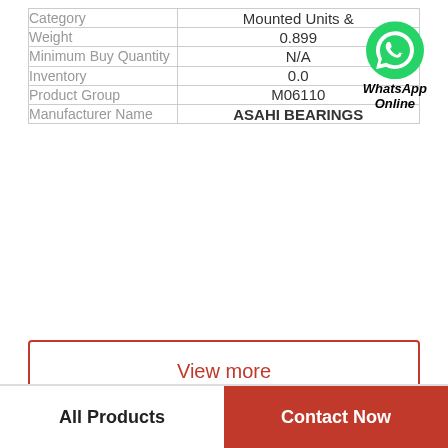| Field | Value |
| --- | --- |
| Category | Mounted Units & |
| Weight | 0.899 |
| Minimum Buy Quantity | N/A |
| Inventory | 0.0 |
| Product Group | M06110 |
| Manufacturer Name | ASAHI BEARINGS |
[Figure (logo): WhatsApp Online green circle logo with phone icon and text 'WhatsApp Online' in bold italic]
View more
All Products | Contact Now